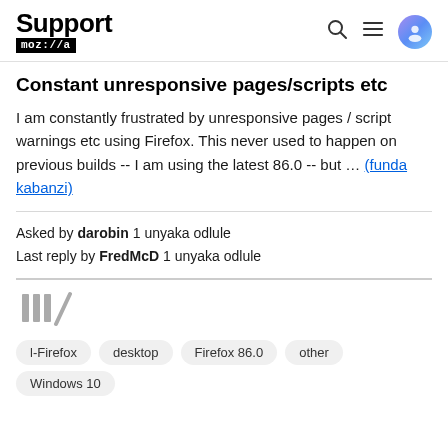Support mozilla//a
Constant unresponsive pages/scripts etc
I am constantly frustrated by unresponsive pages / script warnings etc using Firefox. This never used to happen on previous builds -- I am using the latest 86.0 -- but ... (funda kabanzi)
Asked by darobin 1 unyaka odlule
Last reply by FredMcD 1 unyaka odlule
[Figure (other): Archive/library icon (three vertical bars with diagonal line)]
l-Firefox   desktop   Firefox 86.0   other   Windows 10